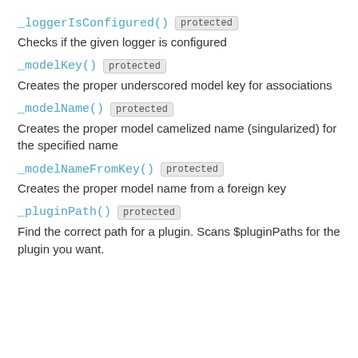_loggerIsConfigured() protected
Checks if the given logger is configured
_modelKey() protected
Creates the proper underscored model key for associations
_modelName() protected
Creates the proper model camelized name (singularized) for the specified name
_modelNameFromKey() protected
Creates the proper model name from a foreign key
_pluginPath() protected
Find the correct path for a plugin. Scans $pluginPaths for the plugin you want.